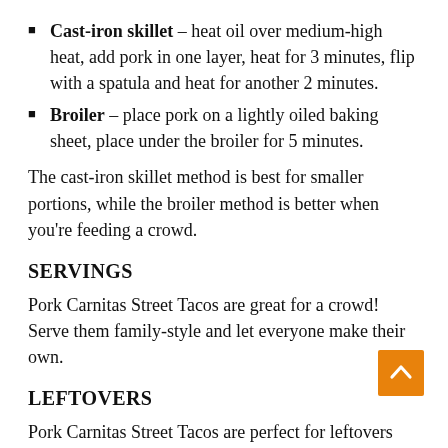Cast-iron skillet – heat oil over medium-high heat, add pork in one layer, heat for 3 minutes, flip with a spatula and heat for another 2 minutes.
Broiler – place pork on a lightly oiled baking sheet, place under the broiler for 5 minutes.
The cast-iron skillet method is best for smaller portions, while the broiler method is better when you're feeding a crowd.
SERVINGS
Pork Carnitas Street Tacos are great for a crowd! Serve them family-style and let everyone make their own.
LEFTOVERS
Pork Carnitas Street Tacos are perfect for leftovers and